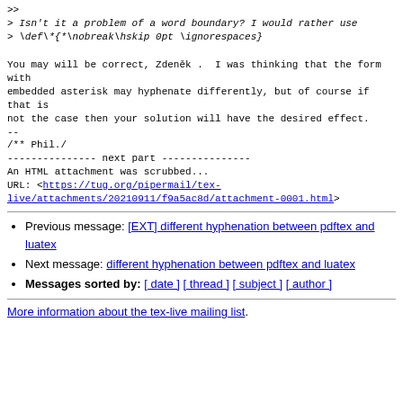>>
> Isn't it a problem of a word boundary? I would rather use
> \def\*{*\nobreak\hskip 0pt \ignorespaces}
You may will be correct, Zdeněk .  I was thinking that the form with
embedded asterisk may hyphenate differently, but of course if that is
not the case then your solution will have the desired effect.
--
/** Phil./
--------------- next part ---------------
An HTML attachment was scrubbed...
URL: <https://tug.org/pipermail/tex-live/attachments/20210911/f9a5ac8d/attachment-0001.html>
Previous message: [EXT] different hyphenation between pdftex and luatex
Next message: different hyphenation between pdftex and luatex
Messages sorted by: [ date ] [ thread ] [ subject ] [ author ]
More information about the tex-live mailing list.